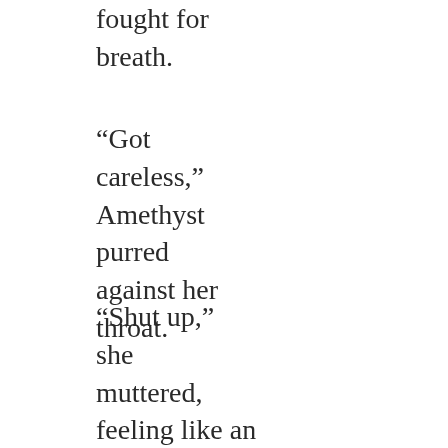fought for breath.
“Got careless,” Amethyst purred against her throat.
“Shut up,” she muttered, feeling like an idiot.